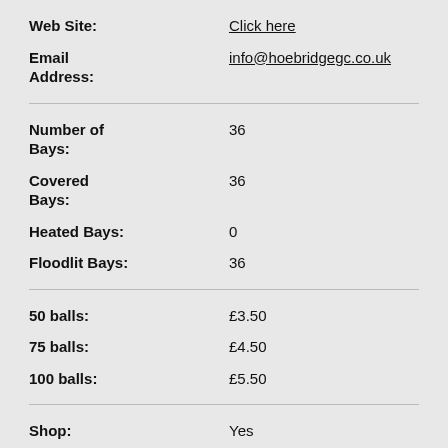Web Site: Click here
Email Address: info@hoebridgegc.co.uk
Number of Bays: 36
Covered Bays: 36
Heated Bays: 0
Floodlit Bays: 36
50 balls: £3.50
75 balls: £4.50
100 balls: £5.50
Shop: Yes
Cafe/Dining facility: Yes